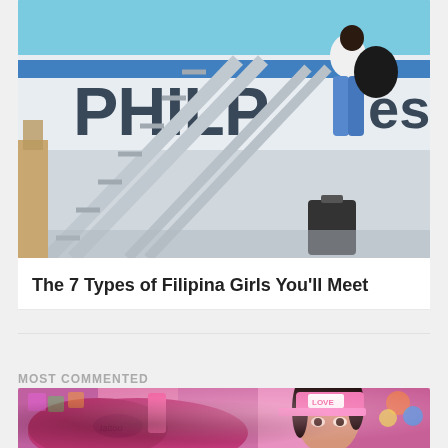[Figure (photo): Person walking up airplane stairs toward a Philippine Airlines aircraft, carrying luggage, wearing blue jeans and white top. Stairs with metal railings visible. Blue sky background.]
The 7 Types of Filipina Girls You'll Meet
MOST COMMENTED
[Figure (photo): Young Asian woman wearing a pink visor cap and pink outfit, with dark hair in pigtails. Colorful background. Partial view of another person in the foreground.]